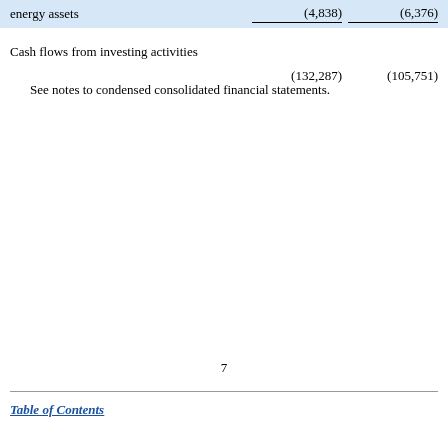|  |  |  |
| --- | --- | --- |
| energy assets | (4,838) | (6,376) |
| Cash flows from investing activities | (132,287) | (105,751) |
See notes to condensed consolidated financial statements.
7
Table of Contents